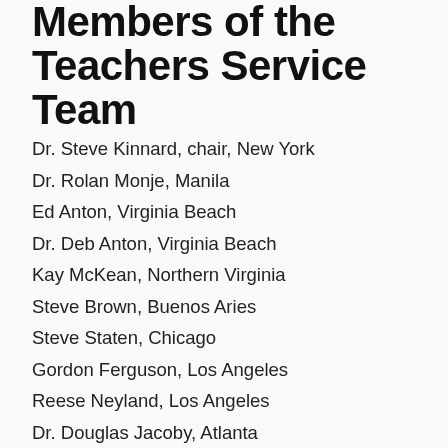Members of the Teachers Service Team
Dr. Steve Kinnard, chair, New York
Dr. Rolan Monje, Manila
Ed Anton, Virginia Beach
Dr. Deb Anton, Virginia Beach
Kay McKean, Northern Virginia
Steve Brown, Buenos Aries
Steve Staten, Chicago
Gordon Ferguson, Los Angeles
Reese Neyland, Los Angeles
Dr. Douglas Jacoby, Atlanta
Joey Harris, Augusta
Dr. Glenn Giles, Denver
Fred Faller, Boston
Valdur Koha, Boston
Courtney Bailey, Kingston